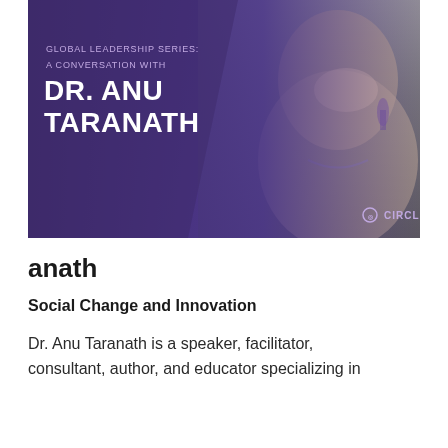[Figure (photo): Promotional banner image for Global Leadership Series featuring Dr. Anu Taranath. Purple/violet gradient background with a grayscale photo of a smiling woman wearing dangling earrings and a necklace. Text overlay reads 'GLOBAL LEADERSHIP SERIES: A CONVERSATION WITH DR. ANU TARANATH'. Circle logo in bottom right.]
anath
Social Change and Innovation
Dr. Anu Taranath is a speaker, facilitator, consultant, author, and educator specializing in